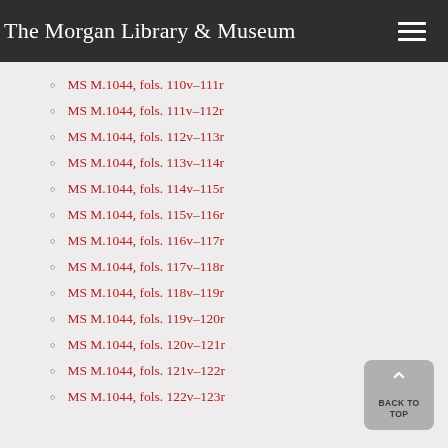The Morgan Library & Museum
MS M.1044, fols. 110v–111r
MS M.1044, fols. 111v–112r
MS M.1044, fols. 112v–113r
MS M.1044, fols. 113v–114r
MS M.1044, fols. 114v–115r
MS M.1044, fols. 115v–116r
MS M.1044, fols. 116v–117r
MS M.1044, fols. 117v–118r
MS M.1044, fols. 118v–119r
MS M.1044, fols. 119v–120r
MS M.1044, fols. 120v–121r
MS M.1044, fols. 121v–122r
MS M.1044, fols. 122v–123r